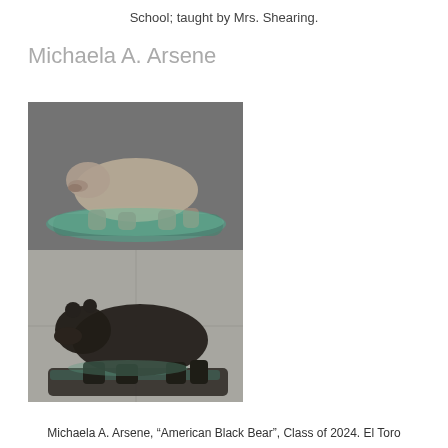School; taught by Mrs. Shearing.
Michaela A. Arsene
[Figure (photo): Two photographs of a bronze bear sculpture titled 'American Black Bear'. The top photo shows a side view of the sculpture on a teal-patinated base against a gray background. The bottom photo shows a closer dark view of the same sculpture from a slightly different angle.]
Michaela A. Arsene, “American Black Bear”, Class of 2024. El Toro